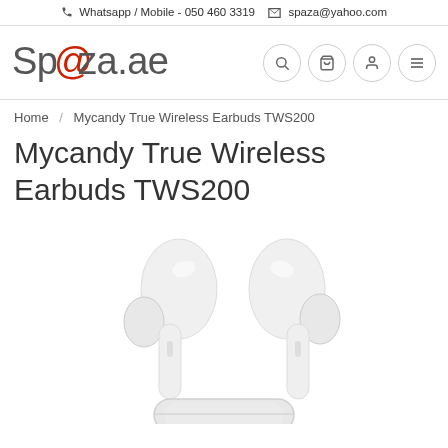Whatsapp / Mobile - 050 460 3319   spaza@yahoo.com
[Figure (logo): Spaza.ae logo with stylized script font and red @ symbol]
Home / Mycandy True Wireless Earbuds TWS200
Mycandy True Wireless Earbuds TWS200
[Figure (photo): Product photo of Mycandy True Wireless Earbuds TWS200 — two white wireless earbuds facing each other with charging case visible at the bottom]